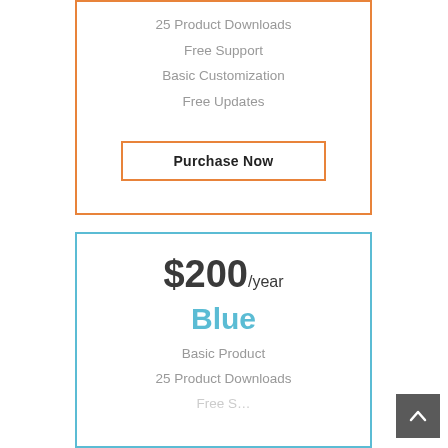25 Product Downloads
Free Support
Basic Customization
Free Updates
Purchase Now
$200/year
Blue
Basic Product
25 Product Downloads